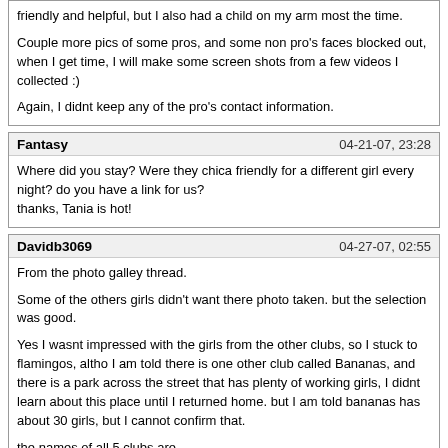friendly and helpful, but I also had a child on my arm most the time.

Couple more pics of some pros, and some non pro's faces blocked out, when I get time, I will make some screen shots from a few videos I collected :)

Again, I didnt keep any of the pro's contact information.
Fantasy  04-21-07, 23:28
Where did you stay? Were they chica friendly for a different girl every night? do you have a link for us?
thanks, Tania is hot!
Davidb3069  04-27-07, 02:55
From the photo galley thread.

Some of the others girls didn't want there photo taken. but the selection was good.

Yes I wasnt impressed with the girls from the other clubs, so I stuck to flamingos, altho I am told there is one other club called Bananas, and there is a park across the street that has plenty of working girls, I didnt learn about this place until I returned home. but I am told bananas has about 30 girls, but I cannot confirm that.

the names of all 5 clubs are
Pleyboy
Flamingos
Babilonia
Hollywood
BananasWow. Tania is hot. I don't recall seeing her there. I will grab her next time.

There is a HOT blonde (I'm sure it's fake) that works at Flamingos. I had my girl Jessica with me and the girls weren't approaching because of this. But she was